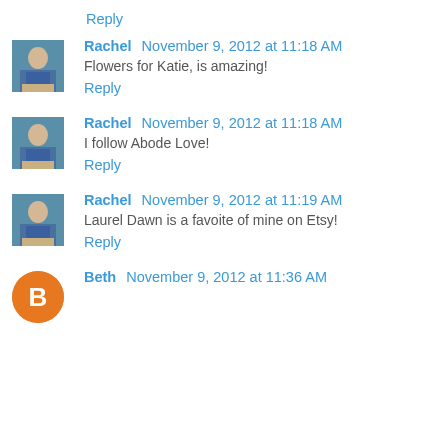Reply
[Figure (photo): Avatar photo of Rachel - person standing outdoors]
Rachel November 9, 2012 at 11:18 AM
Flowers for Katie, is amazing!
Reply
[Figure (photo): Avatar photo of Rachel - person standing outdoors]
Rachel November 9, 2012 at 11:18 AM
I follow Abode Love!
Reply
[Figure (photo): Avatar photo of Rachel - person standing outdoors]
Rachel November 9, 2012 at 11:19 AM
Laurel Dawn is a favoite of mine on Etsy!
Reply
[Figure (photo): Avatar icon of Beth - orange circle with letter B]
Beth November 9, 2012 at 11:36 AM